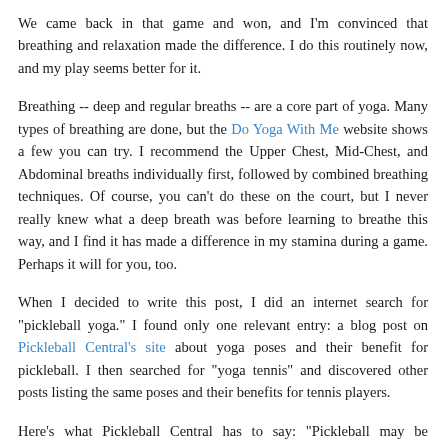We came back in that game and won, and I'm convinced that breathing and relaxation made the difference. I do this routinely now, and my play seems better for it.
Breathing -- deep and regular breaths -- are a core part of yoga. Many types of breathing are done, but the Do Yoga With Me website shows a few you can try. I recommend the Upper Chest, Mid-Chest, and Abdominal breaths individually first, followed by combined breathing techniques. Of course, you can't do these on the court, but I never really knew what a deep breath was before learning to breathe this way, and I find it has made a difference in my stamina during a game. Perhaps it will for you, too.
When I decided to write this post, I did an internet search for "pickleball yoga." I found only one relevant entry: a blog post on Pickleball Central's site about yoga poses and their benefit for pickleball. I then searched for "yoga tennis" and discovered other posts listing the same poses and their benefits for tennis players.
Here's what Pickleball Central has to say: "Pickleball may be relatively low impact but as a sport with repetitive movements, it still puts strain